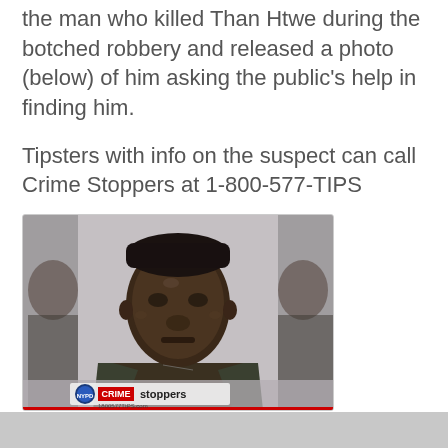the man who killed Than Htwe during the botched robbery and released a photo (below) of him asking the public's help in finding him.
Tipsters with info on the suspect can call Crime Stoppers at 1-800-577-TIPS
[Figure (photo): Mugshot photo of a man with a Crime Stoppers watermark/logo at the bottom of the image.]